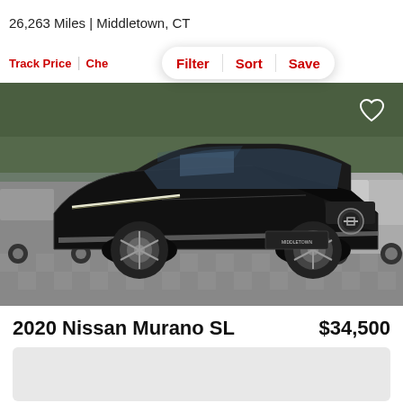26,263 Miles | Middletown, CT
Track Price  Che...  Filter  Sort  Save
[Figure (photo): Black 2020 Nissan Murano SL parked on a checkered paved lot at a dealership, front three-quarter view, with other vehicles visible in the background and trees behind]
2020 Nissan Murano SL    $34,500